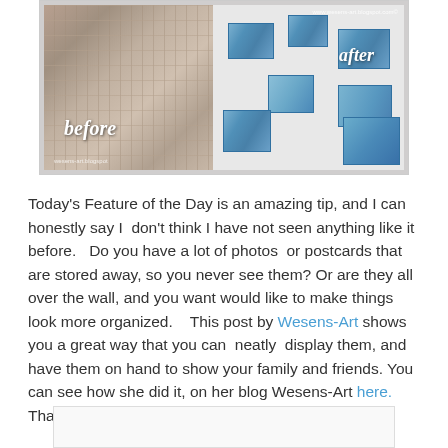[Figure (photo): Before and after photo collage. Left side labeled 'before' shows many photos/postcards cluttered on a wall. Right side labeled 'after' shows map postcards neatly displayed on a white wall. Watermark: www.wesens-art.blogspot.com and wesens-art.blogspot]
Today's Feature of the Day is an amazing tip, and I can honestly say I  don't think I have not seen anything like it before.   Do you have a lot of photos  or postcards that are stored away, so you never see them? Or are they all over the wall, and you want would like to make things look more organized.    This post by Wesens-Art shows you a great way that you can  neatly  display them, and have them on hand to show your family and friends. You can see how she did it, on her blog Wesens-Art here. Thanks so much for linking up on Dare to Share!